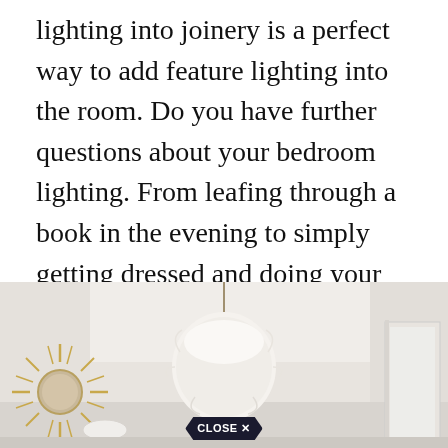lighting into joinery is a perfect way to add feature lighting into the room. Do you have further questions about your bedroom lighting. From leafing through a book in the evening to simply getting dressed and doing your hair. Bedroom lamps for all situations from leafing through a book to getting dressed.
[Figure (photo): Interior room photo showing a pendant light with a fluffy/feathery shade hanging from the ceiling, a sunburst mirror on the left wall, white walls and ceiling, and a doorway on the right. A 'CLOSE X' button overlay appears at the bottom center of the image.]